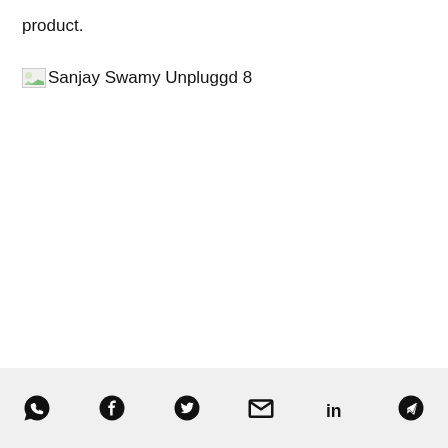product.
[Figure (photo): Broken image placeholder with alt text 'Sanjay Swamy Unpluggd 8']
Social share icons: WhatsApp, Facebook, Twitter, Email, LinkedIn, Telegram